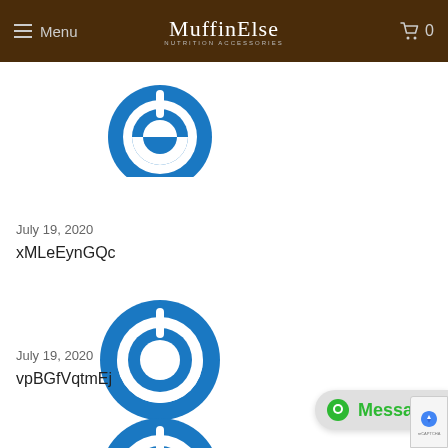Menu | MuffinElse | 0
[Figure (logo): Blue power/circular icon (partially cropped at top)]
July 19, 2020
xMLeEynGQc
[Figure (logo): Blue power/circular icon]
July 19, 2020
vpBGfVqtmEj
[Figure (logo): Blue power/circular icon (partially cropped at bottom)]